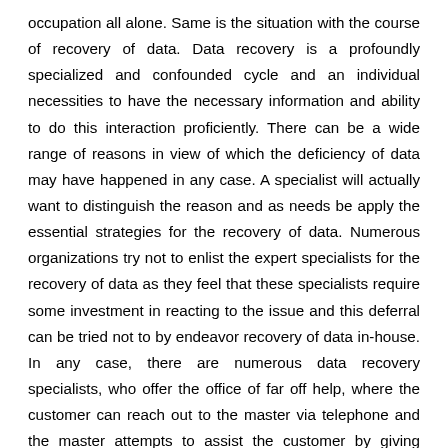occupation all alone. Same is the situation with the course of recovery of data. Data recovery is a profoundly specialized and confounded cycle and an individual necessities to have the necessary information and ability to do this interaction proficiently. There can be a wide range of reasons in view of which the deficiency of data may have happened in any case. A specialist will actually want to distinguish the reason and as needs be apply the essential strategies for the recovery of data. Numerous organizations try not to enlist the expert specialists for the recovery of data as they feel that these specialists require some investment in reacting to the issue and this deferral can be tried not to by endeavor recovery of data in-house. In any case, there are numerous data recovery specialists, who offer the office of far off help, where the customer can reach out to the master via telephone and the master attempts to assist the customer by giving arrangements telephonically. It is